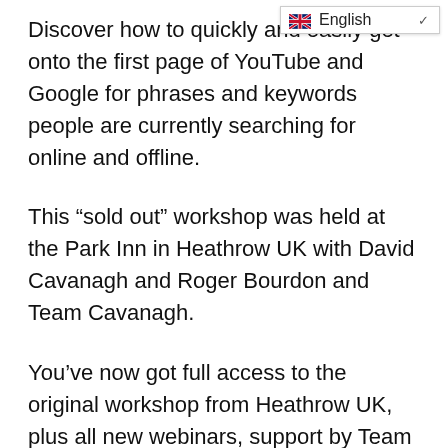[Figure (screenshot): English language selector dropdown UI element with UK flag icon and chevron]
Discover how to quickly and easily get onto the first page of YouTube and Google for phrases and keywords people are currently searching for online and offline.
This “sold out” workshop was held at the Park Inn in Heathrow UK with David Cavanagh and Roger Bourdon and Team Cavanagh.
You’ve now got full access to the original workshop from Heathrow UK, plus all new webinars, support by Team Cavanagh, instant on-site messaging, Telegram group and Facebook group.